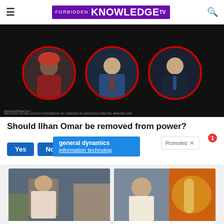Forbidden Knowledge TV
[Figure (photo): Dark background with three circular portrait photos outlined in red circles, showing a woman in red headwear and two men in suits]
Should Ilhan Omar be removed from power?
Yes | No | I'm n...
general dynamics information technolog... Promoted
[Figure (photo): Person sitting on bed in distress, representing dementia warning signs article]
4 Warning Signs Of Dementia (#2 Is Scary)
Find Out More
[Figure (photo): Fitness person and spoonful of spice, representing belly fat burning article]
Just 1 Teaspoon Burns Belly Fat Like Crazy!
Find Out More